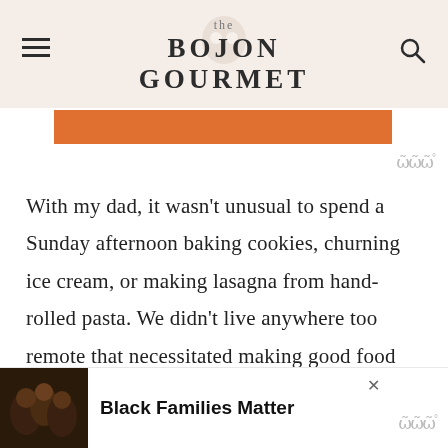the BOJON GOURMET
[Figure (other): Orange rectangular banner below header]
With my dad, it wasn't unusual to spend a Sunday afternoon baking cookies, churning ice cream, or making lasagna from hand-rolled pasta. We didn't live anywhere too remote that necessitated making good food from scratch; my dad just loves to cook. The culinary gene must have been passed down from his mother, who was called Bubba and who made the best
[Figure (other): Advertisement banner at bottom: image of people on left, text 'Black Families Matter' on right with Whisk/Tempo logo]